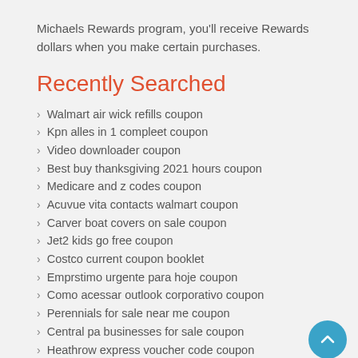Michaels Rewards program, you'll receive Rewards dollars when you make certain purchases.
Recently Searched
Walmart air wick refills coupon
Kpn alles in 1 compleet coupon
Video downloader coupon
Best buy thanksgiving 2021 hours coupon
Medicare and z codes coupon
Acuvue vita contacts walmart coupon
Carver boat covers on sale coupon
Jet2 kids go free coupon
Costco current coupon booklet
Emprstimo urgente para hoje coupon
Como acessar outlook corporativo coupon
Perennials for sale near me coupon
Central pa businesses for sale coupon
Heathrow express voucher code coupon
North face women fleece vest coupon